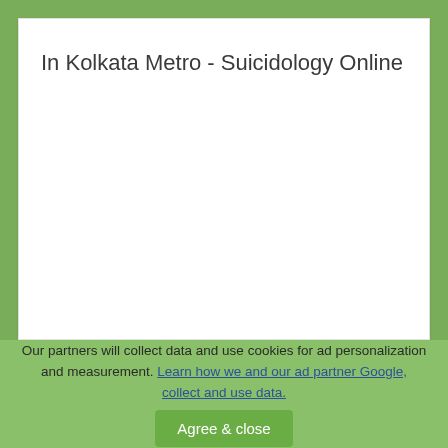In Kolkata Metro - Suicidology Online
Our partners will collect data and use cookies for ad personalization and measurement. Learn how we and our ad partner Google, collect and use data.
Agree & close